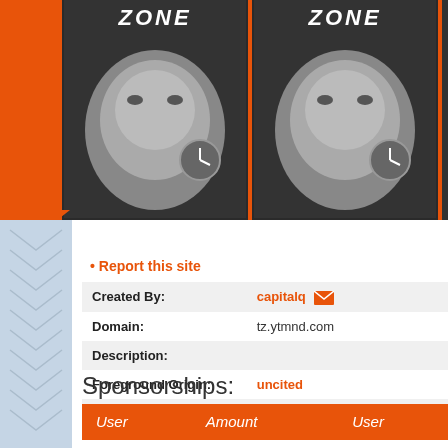[Figure (photo): Banner with repeating Twilight Zone TV show images showing Rod Serling's face in black and white, with 'ZONE' text visible, on an orange background]
• Report this site
| Created By: | capitalq ✉ |
| Domain: | tz.ytmnd.com |
| Description: |  |
| Foreground Origin: | uncited |
| Sound Origin: | uncited |
| Keywords: | None (._.) |
Sponsorships:
| User | Amount | User |
| --- | --- | --- |
|  |  | No one has sponsore |